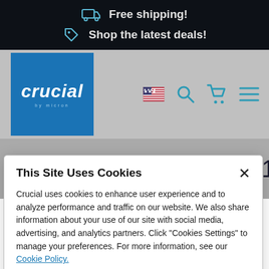Free shipping! Shop the latest deals!
[Figure (logo): Crucial by Micron logo on blue background]
HP – Compaq Pavilion 15-
This Site Uses Cookies
Crucial uses cookies to enhance user experience and to analyze performance and traffic on our website. We also share information about your use of our site with social media, advertising, and analytics partners. Click "Cookies Settings" to manage your preferences. For more information, see our Cookie Policy.